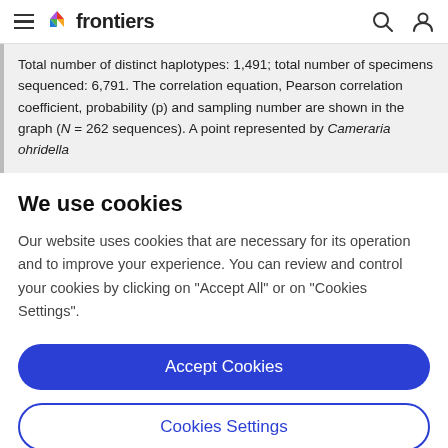frontiers
Total number of distinct haplotypes: 1,491; total number of specimens sequenced: 6,791. The correlation equation, Pearson correlation coefficient, probability (p) and sampling number are shown in the graph (N = 262 sequences). A point represented by Cameraria ohridella
We use cookies
Our website uses cookies that are necessary for its operation and to improve your experience. You can review and control your cookies by clicking on "Accept All" or on "Cookies Settings".
Accept Cookies
Cookies Settings